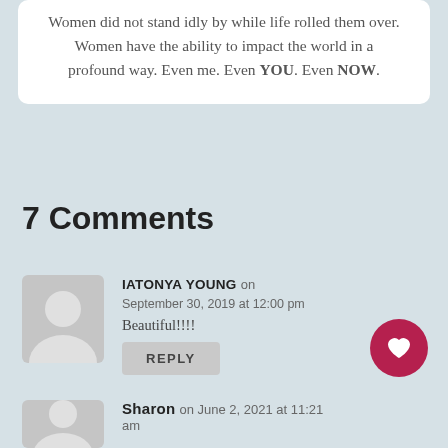Women did not stand idly by while life rolled them over. Women have the ability to impact the world in a profound way. Even me. Even YOU. Even NOW.
7 Comments
IATONYA YOUNG on September 30, 2019 at 12:00 pm Beautiful!!!!
Sharon on June 2, 2021 at 11:21 am